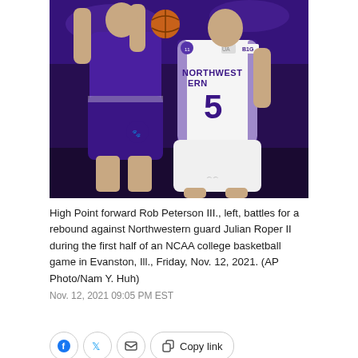[Figure (photo): Two basketball players battling for a rebound. Left player wears purple uniform, right player wears white Northwestern jersey number 5 with Under Armour and Big Ten (B1G) logos.]
High Point forward Rob Peterson III., left, battles for a rebound against Northwestern guard Julian Roper II during the first half of an NCAA college basketball game in Evanston, Ill., Friday, Nov. 12, 2021. (AP Photo/Nam Y. Huh)
Nov. 12, 2021 09:05 PM EST